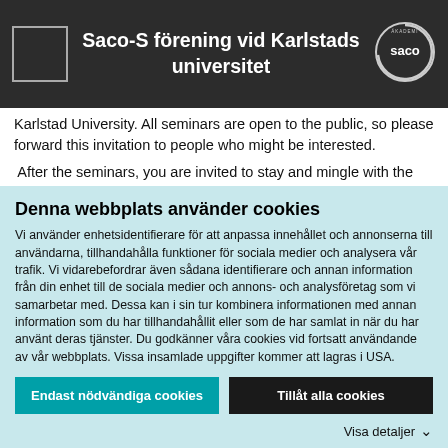Saco-S förening vid Karlstads universitet
Karlstad University. All seminars are open to the public, so please forward this invitation to people who might be interested.
After the seminars, you are invited to stay and mingle with the invited speakers and your local board members.
Participants in the lunch seminar are kindly requested to sign up in
Denna webbplats använder cookies
Vi använder enhetsidentifierare för att anpassa innehållet och annonserna till användarna, tillhandahålla funktioner för sociala medier och analysera vår trafik. Vi vidarebefordrar även sådana identifierare och annan information från din enhet till de sociala medier och annons- och analysföretag som vi samarbetar med. Dessa kan i sin tur kombinera informationen med annan information som du har tillhandahållit eller som de har samlat in när du har använt deras tjänster. Du godkänner våra cookies vid fortsatt användande av vår webbplats. Vissa insamlade uppgifter kommer att lagras i USA.
Endast nödvändiga cookies
Tillåt alla cookies
Visa detaljer